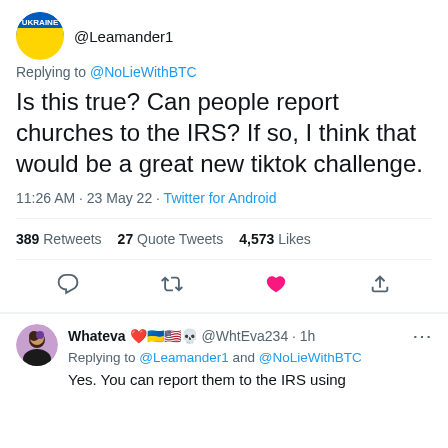[Figure (screenshot): Twitter/X screenshot of a tweet by @Leamander1 with a Ukraine flag profile banner, replying to @NoLieWithBTC, asking about reporting churches to the IRS and suggesting it as a tiktok challenge. Posted 11:26 AM · 23 May 22 · Twitter for Android. Stats: 389 Retweets, 27 Quote Tweets, 4,573 Likes. Below is a reply from Whateva ❤️🇺🇦🇺🇸💀 @WhtEva234 · 1h replying to @Leamander1 and @NoLieWithBTC saying Yes. You can report them to the IRS using]